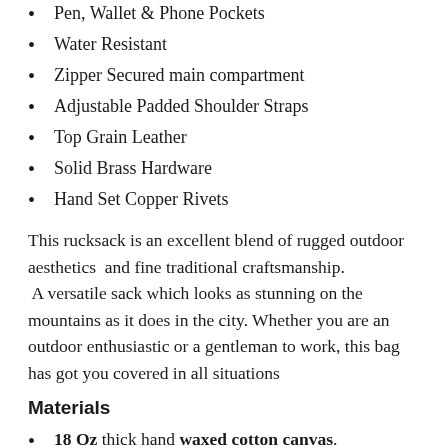Pen, Wallet & Phone Pockets
Water Resistant
Zipper Secured main compartment
Adjustable Padded Shoulder Straps
Top Grain Leather
Solid Brass Hardware
Hand Set Copper Rivets
This rucksack is an excellent blend of rugged outdoor aesthetics  and fine traditional craftsmanship.  A versatile sack which looks as stunning on the mountains as it does in the city. Whether you are an outdoor enthusiastic or a gentleman to work, this bag has got you covered in all situations
Materials
18 Oz thick hand waxed cotton canvas.
5 Oz (2mm) thick semi vegetable tanned hand waxed leather.